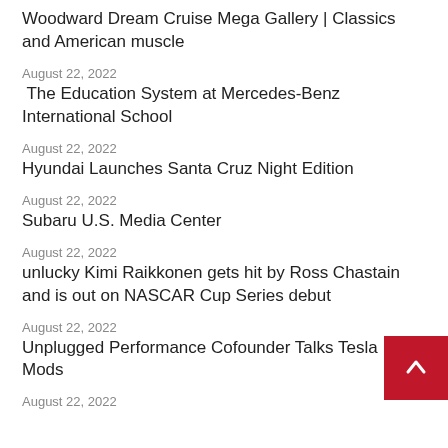Woodward Dream Cruise Mega Gallery | Classics and American muscle
August 22, 2022
The Education System at Mercedes-Benz International School
August 22, 2022
Hyundai Launches Santa Cruz Night Edition
August 22, 2022
Subaru U.S. Media Center
August 22, 2022
unlucky Kimi Raikkonen gets hit by Ross Chastain and is out on NASCAR Cup Series debut
August 22, 2022
Unplugged Performance Cofounder Talks Tesla Mods
August 22, 2022